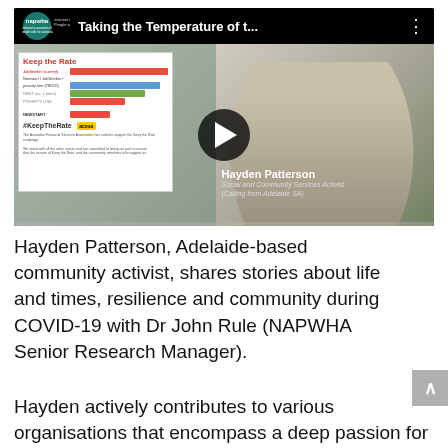[Figure (screenshot): YouTube video thumbnail showing 'Taking the Temperature of t...' with NAPWHA logo in top left. Left side shows a person holding phone with a 'Keep the Rate' infographic. Right side shows Hayden Patterson wearing headset. Play button overlay in center. Hayden Patterson identified as Social and Community Services Activist (Calling from Adelaide SA).]
Hayden Patterson, Adelaide-based community activist, shares stories about life and times, resilience and community during COVID-19 with Dr John Rule (NAPWHA Senior Research Manager).
Hayden actively contributes to various organisations that encompass a deep passion for social welfare policy reform, advocacy